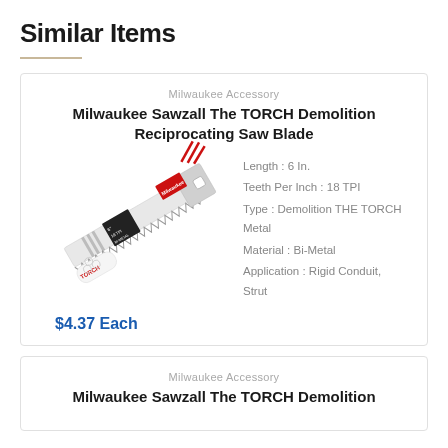Similar Items
[Figure (photo): Milwaukee Sawzall THE TORCH Demolition Reciprocating Saw Blade product image, blade shown diagonally with red and black branding, TORCH label visible]
Milwaukee Accessory
Milwaukee Sawzall The TORCH Demolition Reciprocating Saw Blade
Length : 6 In.
Teeth Per Inch : 18 TPI
Type : Demolition THE TORCH Metal
Material : Bi-Metal
Application : Rigid Conduit, Strut
$4.37 Each
Milwaukee Accessory
Milwaukee Sawzall The TORCH Demolition